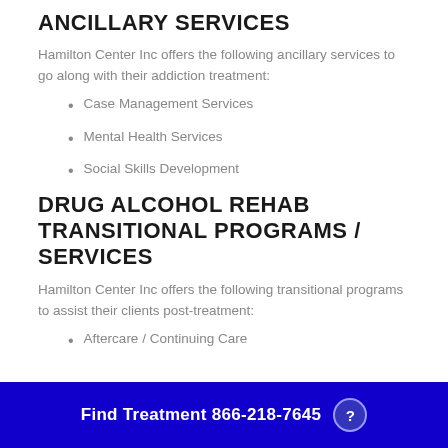ANCILLARY SERVICES
Hamilton Center Inc offers the following ancillary services to go along with their addiction treatment:
Case Management Services
Mental Health Services
Social Skills Development
DRUG ALCOHOL REHAB TRANSITIONAL PROGRAMS / SERVICES
Hamilton Center Inc offers the following transitional programs to assist their clients post-treatment:
Aftercare / Continuing Care
Find Treatment 866-218-7645 ?